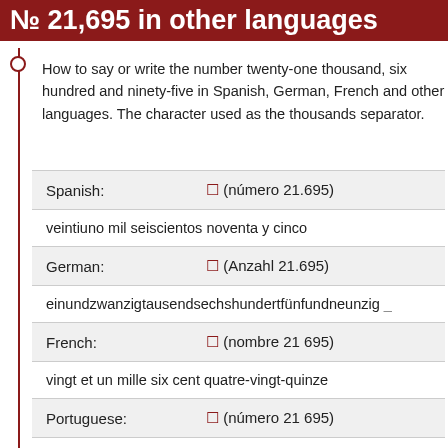№ 21,695 in other languages
How to say or write the number twenty-one thousand, six hundred and ninety-five in Spanish, German, French and other languages. The character used as the thousands separator.
| Language | Symbol / Number |
| --- | --- |
| Spanish: | 🔢 (número 21.695) |
| veintiuno mil seiscientos noventa y cinco |  |
| German: | 🔢 (Anzahl 21.695) |
| einundzwanzigtausendsechshundertfünfundneunzig |  |
| French: | 🔢 (nombre 21 695) |
| vingt et un mille six cent quatre-vingt-quinze |  |
| Portuguese: | 🔢 (número 21 695) |